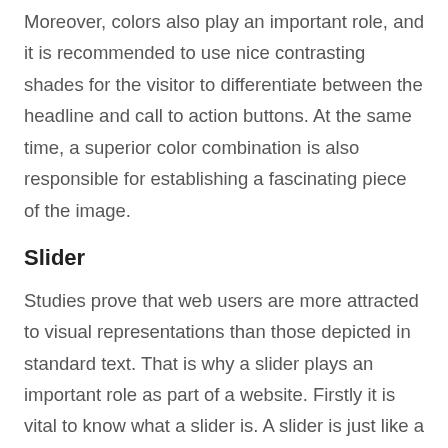Moreover, colors also play an important role, and it is recommended to use nice contrasting shades for the visitor to differentiate between the headline and call to action buttons. At the same time, a superior color combination is also responsible for establishing a fascinating piece of the image.
Slider
Studies prove that web users are more attracted to visual representations than those depicted in standard text. That is why a slider plays an important role as part of a website. Firstly it is vital to know what a slider is. A slider is just like a normal slideshow you often use to present your ideas in the office.